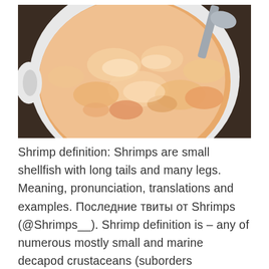[Figure (photo): A white ceramic bowl or pot viewed from above, filled with a creamy orange-pink shrimp dish. A metal spoon or ladle is visible at the top right of the bowl.]
Shrimp definition: Shrimps are small shellfish with long tails and many legs. Meaning, pronunciation, translations and examples. Последние твиты от Shrimps (@Shrimps__). Shrimp definition is – any of numerous mostly small and marine decapod crustaceans (suborders Dendrobranchiata and Pleocyemata) having a slender elongated How to use shrimp in a sentence. You can have Shrimps using 8 ingredients and 1 steps. Here is how you cook it.